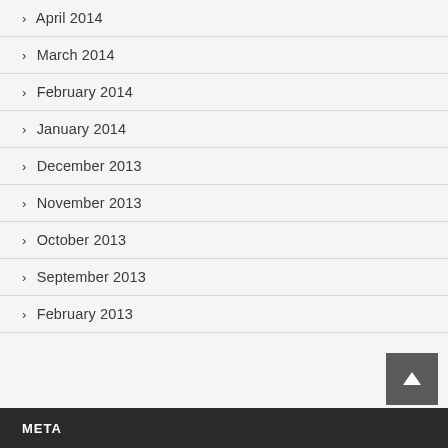April 2014
March 2014
February 2014
January 2014
December 2013
November 2013
October 2013
September 2013
February 2013
META